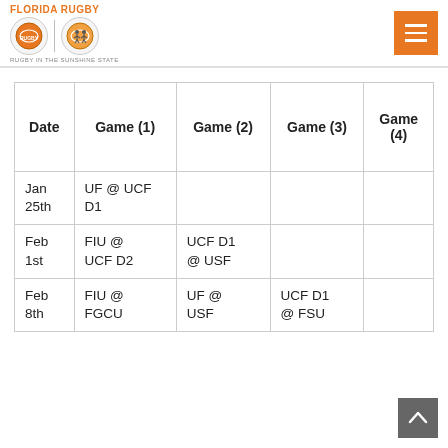FLORIDA RUGBY
| Date | Game (1) | Game (2) | Game (3) | Game (4) |
| --- | --- | --- | --- | --- |
| Jan 25th | UF @ UCF D1 |  |  |  |
| Feb 1st | FIU @ UCF D2 | UCF D1 @ USF |  |  |
| Feb 8th | FIU @ FGCU | UF @ USF | UCF D1 @ FSU |  |